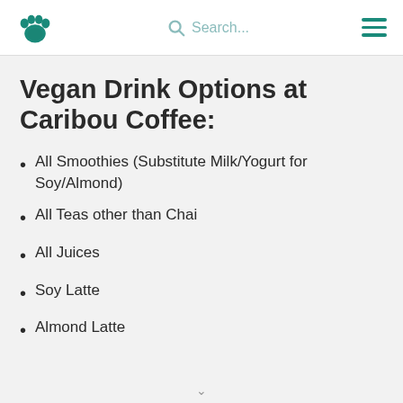Paw icon, Search, Menu navigation
Vegan Drink Options at Caribou Coffee:
All Smoothies (Substitute Milk/Yogurt for Soy/Almond)
All Teas other than Chai
All Juices
Soy Latte
Almond Latte